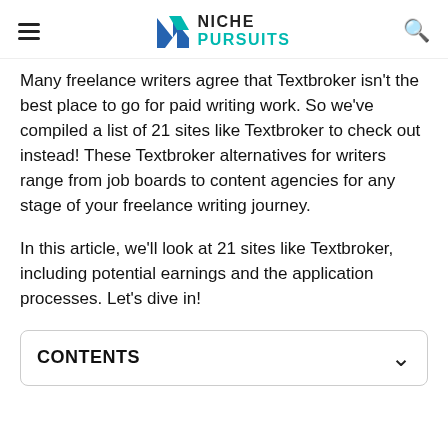Niche Pursuits
Many freelance writers agree that Textbroker isn't the best place to go for paid writing work. So we've compiled a list of 21 sites like Textbroker to check out instead! These Textbroker alternatives for writers range from job boards to content agencies for any stage of your freelance writing journey.
In this article, we'll look at 21 sites like Textbroker, including potential earnings and the application processes. Let's dive in!
CONTENTS